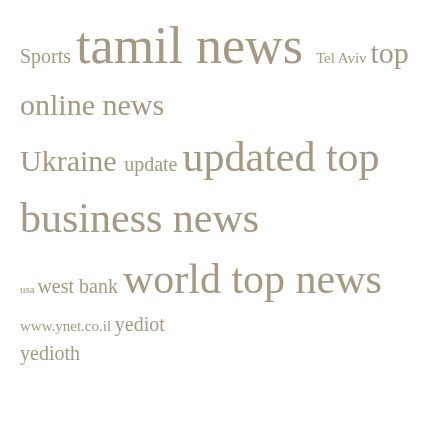Sports tamil news Tel Aviv top online news Ukraine update updated top business news usa west bank world top news www.ynet.co.il yediot yedioth